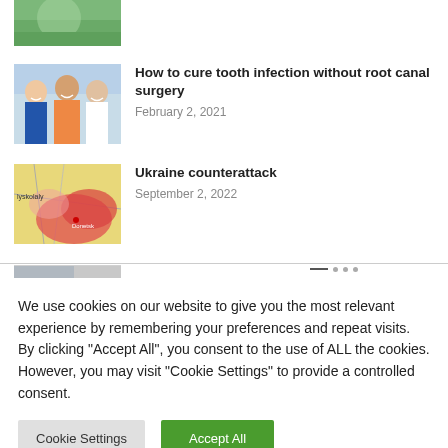[Figure (photo): Partial thumbnail of outdoor scene, partially cropped at top]
How to cure tooth infection without root canal surgery
February 2, 2021
[Figure (photo): Photo of smiling people, dental/medical context]
Ukraine counterattack
September 2, 2022
[Figure (map): Map showing Ukraine region with red and yellow coloring, partially visible]
We use cookies on our website to give you the most relevant experience by remembering your preferences and repeat visits. By clicking "Accept All", you consent to the use of ALL the cookies. However, you may visit "Cookie Settings" to provide a controlled consent.